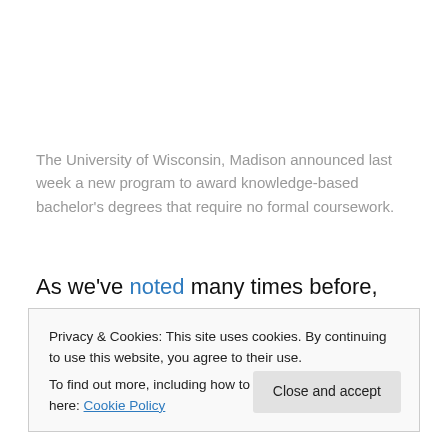The University of Wisconsin, Madison announced last week a new program to award knowledge-based bachelor's degrees that require no formal coursework.
As we've noted many times before, the major issues facing higher education — rising costs, degree inflation,
Privacy & Cookies: This site uses cookies. By continuing to use this website, you agree to their use.
To find out more, including how to control cookies, see here: Cookie Policy